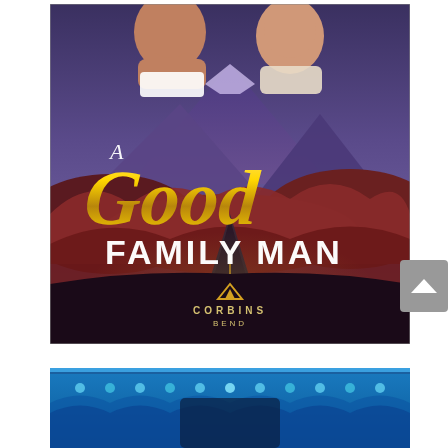[Figure (illustration): Book cover for 'A Good Family Man' from Corbins Bend series. Shows two men against a mountain landscape with a road leading into the distance. Large gold script text reads 'Good' with 'A' above and 'FAMILY MAN' below in white block letters. The Corbins Bend mountain logo appears at the bottom.]
[Figure (illustration): Partial view of another book cover with a blue ornate decorative border/frame design, partially cropped at bottom of page.]